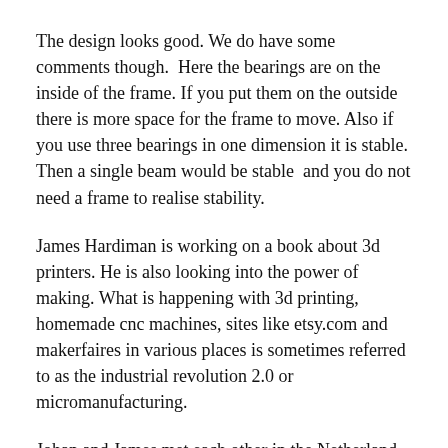The design looks good. We do have some comments though.  Here the bearings are on the inside of the frame. If you put them on the outside there is more space for the frame to move. Also if you use three bearings in one dimension it is stable. Then a single beam would be stable  and you do not need a frame to realise stability.
James Hardiman is working on a book about 3d printers. He is also looking into the power of making. What is happening with 3d printing, homemade cnc machines, sites like etsy.com and makerfaires in various places is sometimes referred to as the industrial revolution 2.0 or micromanufacturing.
Johan and James met each other in the Netherland at ProtoSpace, the fablab in Utrecht. There Johan